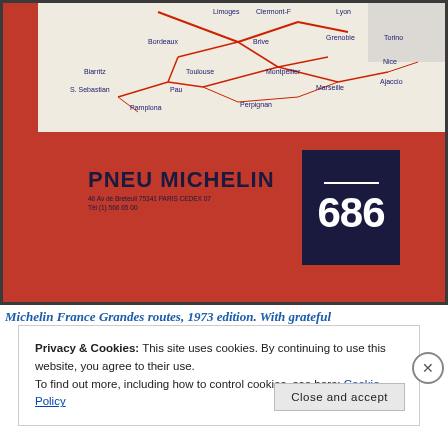[Figure (photo): Back cover of a Michelin France Grandes routes 1973 map (number 686). Red background with a partial road map of France at top showing cities like Limoges, Clermont-F, Lyon, Bordeaux, Brive, Grenoble, Torino, Biarritz, Toulouse, Montpellier, Nice, S. Sebastian, Pau, Marseille, Ajaccio, Pamplona, Perpignan. Text reads PNEU MICHELIN with address: 46 Av de Breteuil 75341 PARIS CEDEX 07, Tél (1) 566 65 00. A dark navy badge shows '686' with a white line above it.]
Michelin France Grandes routes, 1973 edition. With grateful
Privacy & Cookies: This site uses cookies. By continuing to use this website, you agree to their use.
To find out more, including how to control cookies, see here: Cookie Policy